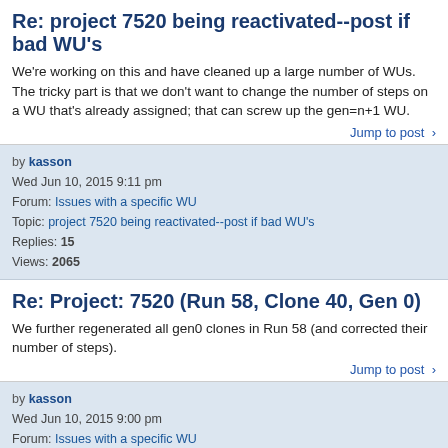Re: project 7520 being reactivated--post if bad WU's
We're working on this and have cleaned up a large number of WUs. The tricky part is that we don't want to change the number of steps on a WU that's already assigned; that can screw up the gen=n+1 WU.
Jump to post >
by kasson
Wed Jun 10, 2015 9:11 pm
Forum: Issues with a specific WU
Topic: project 7520 being reactivated--post if bad WU's
Replies: 15
Views: 2065
Re: Project: 7520 (Run 58, Clone 40, Gen 0)
We further regenerated all gen0 clones in Run 58 (and corrected their number of steps).
Jump to post >
by kasson
Wed Jun 10, 2015 9:00 pm
Forum: Issues with a specific WU
Topic: project 7520 being reactivated--post if bad WU's
Replies: 15
Views: 2065
Re: Project: 7520 (Run 58, Clone 40, Gen 0)
The WU was corrupted and has been regenerated. Thanks.
Jump to post >